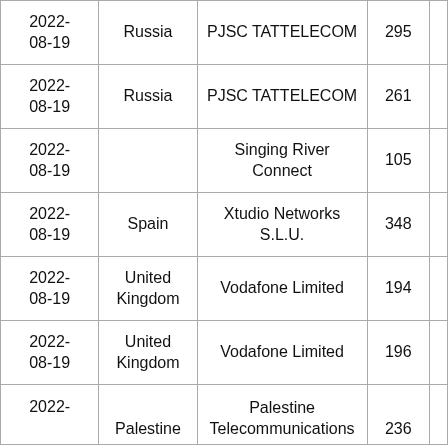| 2022-08-19 | Russia | PJSC TATTELECOM | 295 |  |
| 2022-08-19 | Russia | PJSC TATTELECOM | 261 |  |
| 2022-08-19 |  | Singing River Connect | 105 |  |
| 2022-08-19 | Spain | Xtudio Networks S.L.U. | 348 |  |
| 2022-08-19 | United Kingdom | Vodafone Limited | 194 |  |
| 2022-08-19 | United Kingdom | Vodafone Limited | 196 |  |
| 2022- | Palestine | Palestine Telecommunications | 236 |  |